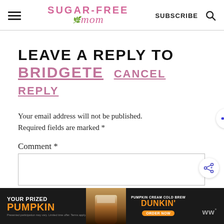Sugar-Free Mom — SUBSCRIBE
LEAVE A REPLY TO BRIDGETE CANCEL REPLY
Your email address will not be published. Required fields are marked *
Comment *
[Figure (screenshot): Dunkin Pumpkin Cream Cold Brew advertisement banner at the bottom of the page]